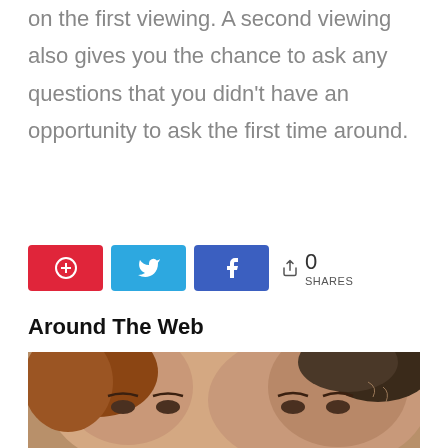on the first viewing. A second viewing also gives you the chance to ask any questions that you didn't have an opportunity to ask the first time around.
[Figure (infographic): Social share buttons: Pinterest (red), Twitter (light blue), Facebook (dark blue), and a share count showing 0 SHARES]
Around The Web
[Figure (photo): Close-up photo of two faces: a woman on the left and a man on the right, both looking toward the camera]